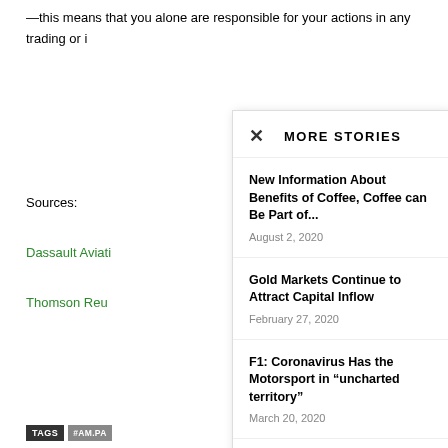—this means that you alone are responsible for your actions in any trading or i
Sources:
Dassault Aviati
Thomson Reu
TAGS #AM.PA
#BEST FX COMPAN
#DASSAULT AVIAT
#DASSAULT AVIAT
#HEFFX #INVES
#MAKE MONEY TRA
#MAKE MONEY TRA
#OPEN AN ACCOUN
#SHAYNE HEFFERNA
#TRADE LIKE SHAYN
MORE STORIES
New Information About Benefits of Coffee, Coffee can Be Part of...
August 2, 2020
Gold Markets Continue to Attract Capital Inflow
February 27, 2020
F1: Coronavirus Has the Motorsport in “uncharted territory”
March 20, 2020